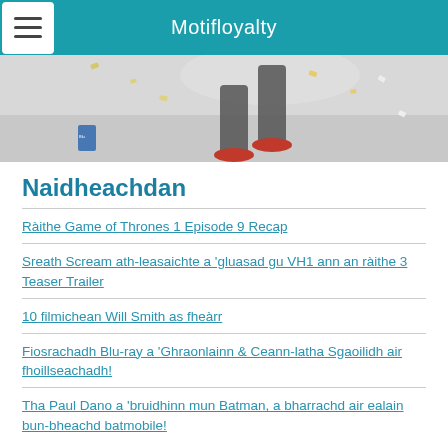Motifloyalty
[Figure (photo): Partial view of a person's legs in sports attire with red shoes, confetti falling in background]
Naidheachdan
Ràithe Game of Thrones 1 Episode 9 Recap
Sreath Scream ath-leasaichte a 'gluasad gu VH1 ann an ràithe 3 Teaser Trailer
10 filmichean Will Smith as fheàrr
Fiosrachadh Blu-ray a 'Ghraonlainn & Ceann-latha Sgaoilidh air fhoillseachadh!
Tha Paul Dano a 'bruidhinn mun Batman, a bharrachd air ealain bun-bheachd batmobile!